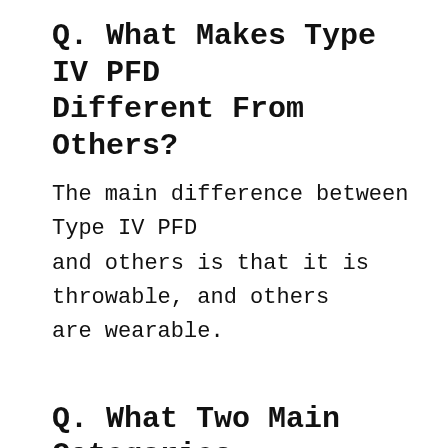Q. What Makes Type IV PFD Different From Others?
The main difference between Type IV PFD and others is that it is throwable, and others are wearable.
Q. What Two Main Categories Are PFDs Divided Into?
The two main categories PFDs are divided into are :
Wearables – Type I, II, III, V.